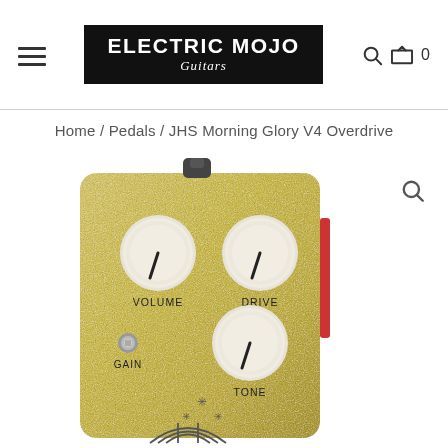Electric Mojo Guitars — navigation header with logo, hamburger menu, search and cart icons
Home / Pedals / JHS Morning Glory V4 Overdrive
[Figure (photo): JHS Morning Glory V4 Overdrive guitar pedal — gold sparkle finish with three white knobs labeled VOLUME, DRIVE, TONE and a small GAIN toggle switch. Decorative star and arch graphics on lower face. Red side accent visible on right edge. Black audio jack on top.]